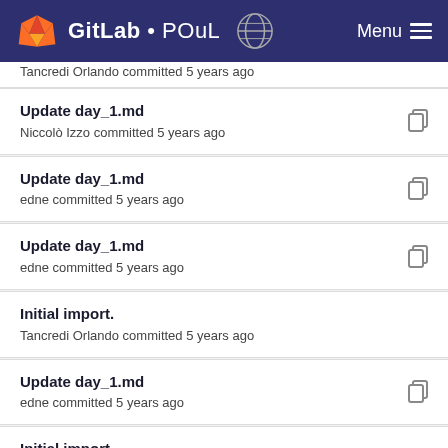GitLab • POuL  Menu
Tancredi Orlando committed 5 years ago
Update day_1.md
Niccolò Izzo committed 5 years ago
Update day_1.md
edne committed 5 years ago
Update day_1.md
edne committed 5 years ago
Initial import.
Tancredi Orlando committed 5 years ago
Update day_1.md
edne committed 5 years ago
Initial import.
Tancredi Orlando committed 5 years ago
Update day_1.md
edne committed 5 years ago
Various fixes.